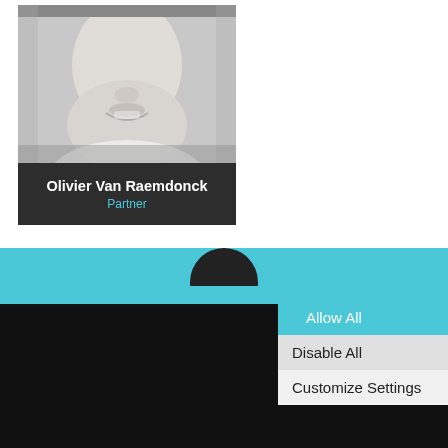[Figure (photo): Black and white portrait photo of a smiling man (lower face visible), with name card below reading 'Olivier Van Raemdonck, Partner']
Olivier Van Raemdonck
Partner
Cookies
Allow All
Disable All
Customize Settings